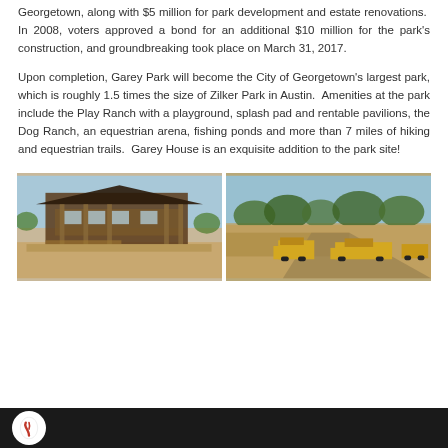Georgetown, along with $5 million for park development and estate renovations.  In 2008, voters approved a bond for an additional $10 million for the park's construction, and groundbreaking took place on March 31, 2017.
Upon completion, Garey Park will become the City of Georgetown's largest park, which is roughly 1.5 times the size of Zilker Park in Austin.  Amenities at the park include the Play Ranch with a playground, splash pad and rentable pavilions, the Dog Ranch, an equestrian arena, fishing ponds and more than 7 miles of hiking and equestrian trails.  Garey House is an exquisite addition to the park site!
[Figure (photo): Construction photo of a building under construction with wooden framing and scaffolding visible, dirt ground in foreground.]
[Figure (photo): Aerial/ground view of a park construction site with heavy equipment/machinery, trees in background, open land.]